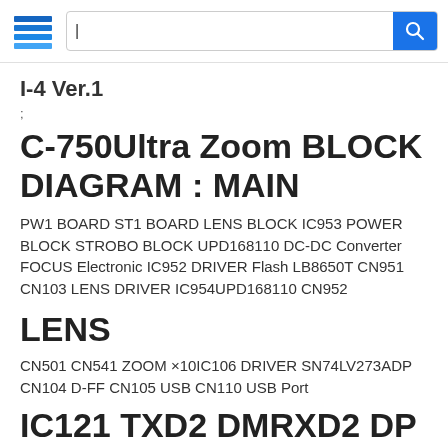I-4 ver.1
;
C-750Ultra Zoom BLOCK DIAGRAM : MAIN
PW1 BOARD ST1 BOARD LENS BLOCK IC953 POWER BLOCK STROBO BLOCK UPD168110 DC-DC Converter FOCUS Electronic IC952 DRIVER Flash LB8650T CN951 CN103 LENS DRIVER IC954UPD168110 CN952
LENS
CN501 CN541 ZOOM ×10IC106 DRIVER SN74LV273ADP CN104 D-FF CN105 USB CN110 USB Port
IC121 TXD2 DMRXD2 DP SYA BLOCK